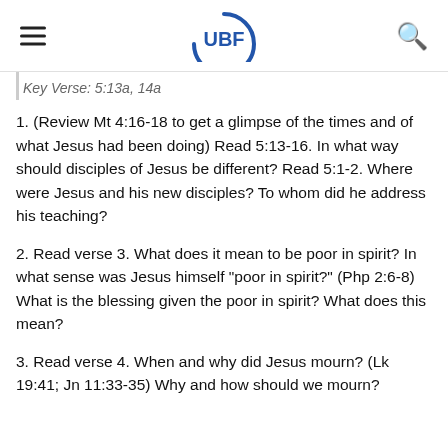UBF
Key Verse: 5:13a, 14a
1. (Review Mt 4:16-18 to get a glimpse of the times and of what Jesus had been doing) Read 5:13-16. In what way should disciples of Jesus be different? Read 5:1-2. Where were Jesus and his new disciples? To whom did he address his teaching?
2. Read verse 3. What does it mean to be poor in spirit? In what sense was Jesus himself "poor in spirit?" (Php 2:6-8) What is the blessing given the poor in spirit? What does this mean?
3. Read verse 4. When and why did Jesus mourn? (Lk 19:41; Jn 11:33-35) Why and how should we mourn?